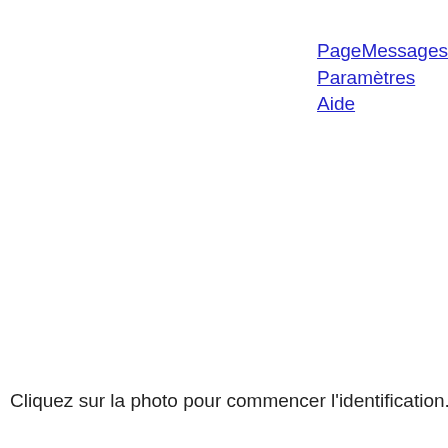PageMessages
Paramètres
Aide
Cliquez sur la photo pour commencer l'identification. Identification t…